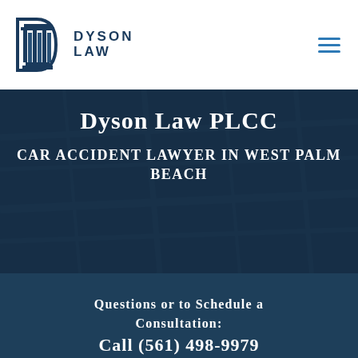Dyson Law — navigation header with logo and hamburger menu
Dyson Law PLCC
Car Accident Lawyer in West Palm Beach
Questions or to Schedule a Consultation: Call (561) 498-9979